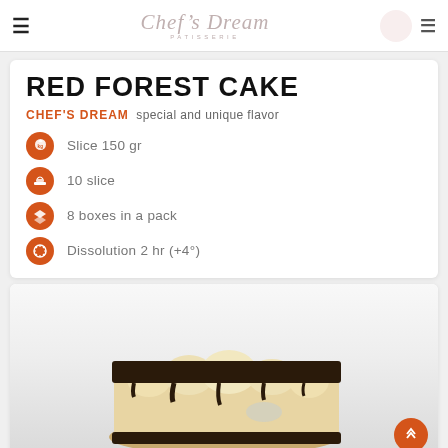Chef's Dream PATISSERIE
RED FOREST CAKE
CHEF'S DREAM special and unique flavor
Slice 150 gr
10 slice
8 boxes in a pack
Dissolution 2 hr (+4°)
[Figure (photo): A slice of Red Forest Cake with dark chocolate ganache on top and layered cream/meringue visible, partially shown from the bottom of the page.]